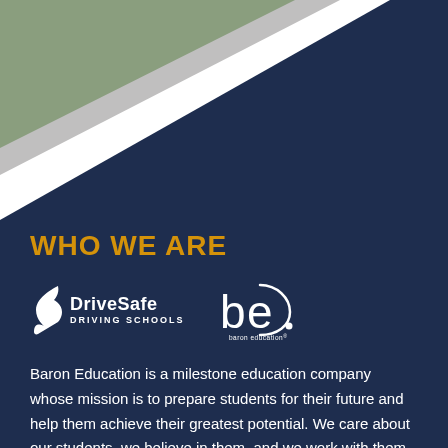[Figure (illustration): Decorative triangular banner background with white, gray, and green/olive triangles in the top-left corner over a dark navy background]
WHO WE ARE
[Figure (logo): DriveSafe Driving Schools logo with white stylized S-curve icon and white text, alongside baron education 'be.' logo in white]
Baron Education is a milestone education company whose mission is to prepare students for their future and help them achieve their greatest potential. We care about our students, we believe in them, and we work with them